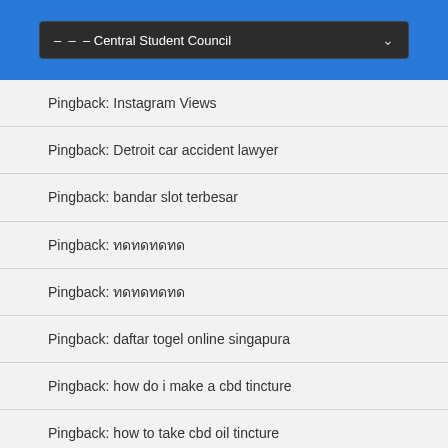[Figure (screenshot): Blue navigation bar with dark dropdown showing '— — – Central Student Council' with a chevron arrow]
Pingback: Instagram Views
Pingback: Detroit car accident lawyer
Pingback: bandar slot terbesar
Pingback: ทดทดทดทด
Pingback: ทดทดทดทด
Pingback: daftar togel online singapura
Pingback: how do i make a cbd tincture
Pingback: how to take cbd oil tincture
Pingback: how long does it take cbd tincture to kick in